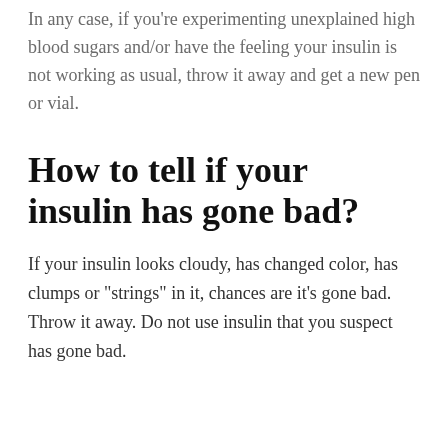In any case, if you're experimenting unexplained high blood sugars and/or have the feeling your insulin is not working as usual, throw it away and get a new pen or vial.
How to tell if your insulin has gone bad?
If your insulin looks cloudy, has changed color, has clumps or "strings" in it, chances are it's gone bad. Throw it away. Do not use insulin that you suspect has gone bad.